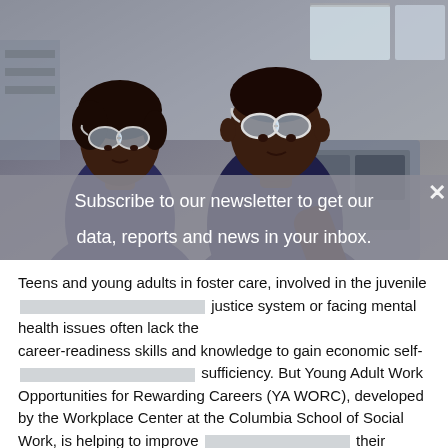[Figure (photo): Two people in navy blue polo shirts and safety goggles standing in what appears to be an industrial or workshop setting, looking at equipment. An overlay message reads 'Subscribe to our newsletter to get our data, reports and news in your inbox.' with a close X button.]
Teens and young adults in foster care, involved in the juvenile justice system or facing mental health issues often lack the career-readiness skills and knowledge to gain economic self-sufficiency. But Young Adult Work Opportunities for Rewarding Careers (YA WORC), developed by the Workplace Center at the Columbia School of Social Work, is helping to improve their readiness for the world of work.